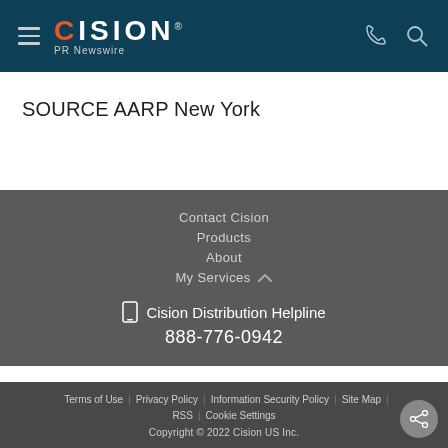[Figure (logo): Cision PR Newswire logo in white and orange on dark teal header background with hamburger menu, phone icon, and search icon]
SOURCE AARP New York
Contact Cision
Products
About
My Services
Cision Distribution Helpline
888-776-0942
Terms of Use | Privacy Policy | Information Security Policy | Site Map | RSS | Cookie Settings
Copyright © 2022 Cision US Inc.